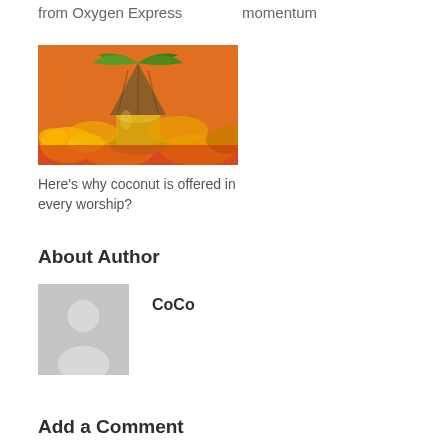from Oxygen Express
momentum
[Figure (photo): Photo of a coconut on a brass puja vessel surrounded by orange marigold flowers and green leaves, used in Hindu worship offerings.]
Here's why coconut is offered in every worship?
About Author
[Figure (illustration): Default grey avatar placeholder image showing a silhouette of a person (head and shoulders).]
CoCo
Add a Comment